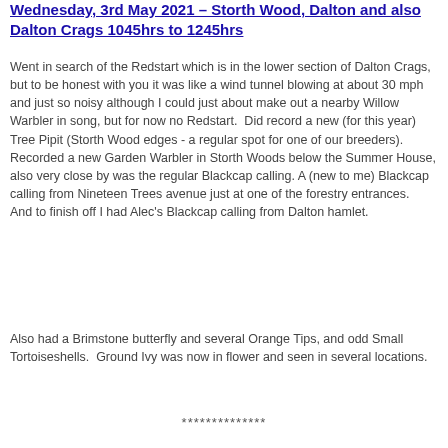Wednesday, 3rd May 2021 – Storth Wood, Dalton and also Dalton Crags 1045hrs to 1245hrs
Went in search of the Redstart which is in the lower section of Dalton Crags, but to be honest with you it was like a wind tunnel blowing at about 30 mph and just so noisy although I could just about make out a nearby Willow Warbler in song, but for now no Redstart.  Did record a new (for this year) Tree Pipit (Storth Wood edges - a regular spot for one of our breeders). Recorded a new Garden Warbler in Storth Woods below the Summer House, also very close by was the regular Blackcap calling. A (new to me) Blackcap calling from Nineteen Trees avenue just at one of the forestry entrances.  And to finish off I had Alec's Blackcap calling from Dalton hamlet.
Also had a Brimstone butterfly and several Orange Tips, and odd Small Tortoiseshells.  Ground Ivy was now in flower and seen in several locations.
**************